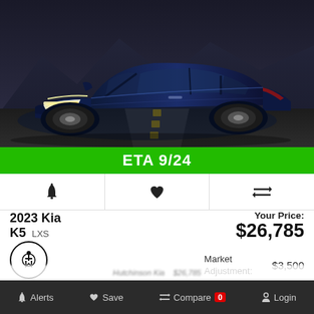[Figure (photo): Dark navy blue 2023 Kia K5 sedan photographed at night on a road with mountains in the background, front three-quarter view with LED headlights illuminated]
ETA 9/24
[Figure (other): Icon row with three icons: bell (alerts), heart (save), and transfer/compare arrows]
2023 Kia
K5 LXS
Your Price: $26,785
Market Adjustment: $3,500
Final Price: $30,285
Alerts   Save   Compare 0   Login